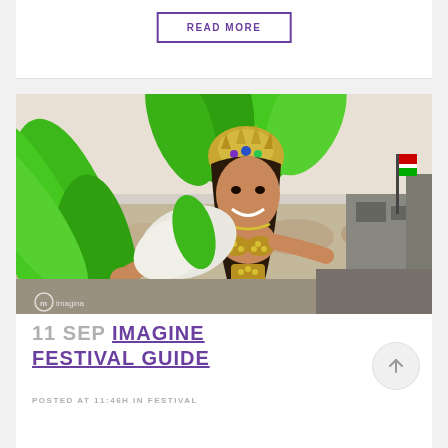READ MORE
[Figure (photo): A woman in a green feathered carnival costume with a rhinestone crown and jeweled bra top, standing on a festival stage with arms outstretched toward the camera, a large crowd visible behind her. An 'imagina' watermark is visible in the lower left.]
11 SEP IMAGINE FESTIVAL GUIDE
POSTED AT 11:46H IN FESTIVAL